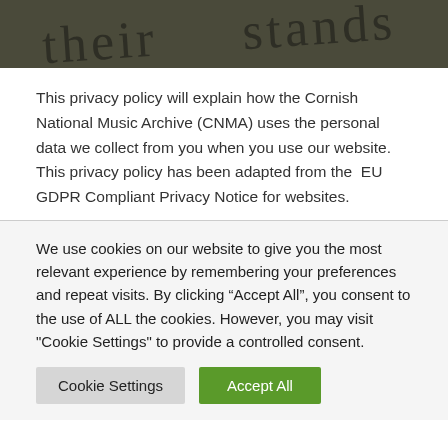[Figure (illustration): Dark olive/green background header with decorative cursive handwriting text partially visible, resembling a logo or banner.]
This privacy policy will explain how the Cornish National Music Archive (CNMA) uses the personal data we collect from you when you use our website. This privacy policy has been adapted from the EU GDPR Compliant Privacy Notice for websites.
We use cookies on our website to give you the most relevant experience by remembering your preferences and repeat visits. By clicking “Accept All”, you consent to the use of ALL the cookies. However, you may visit "Cookie Settings" to provide a controlled consent.
Cookie Settings
Accept All